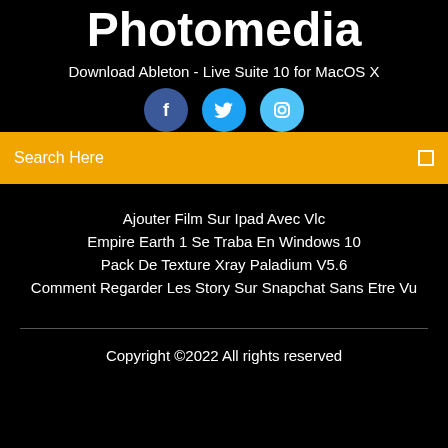Photomedia
Download Ableton - Live Suite 10 for MacOS X
[Figure (illustration): Three social media icon circles: Facebook (dark blue), Twitter (blue), Instagram (light blue)]
Search Here
Ajouter Film Sur Ipad Avec Vlc
Empire Earth 1 Se Traba En Windows 10
Pack De Texture Xray Paladium V5.6
Comment Regarder Les Story Sur Snapchat Sans Etre Vu
Copyright ©2022 All rights reserved